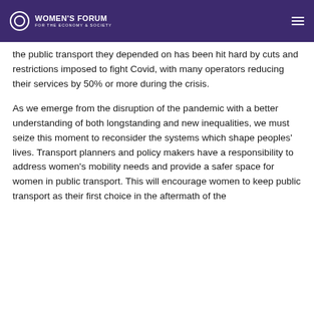WOMEN'S FORUM FOR THE ECONOMY & SOCIETY
...the public transport they depended on has been hit hard by cuts and restrictions imposed to fight Covid, with many operators reducing their services by 50% or more during the crisis.
As we emerge from the disruption of the pandemic with a better understanding of both longstanding and new inequalities, we must seize this moment to reconsider the systems which shape peoples' lives. Transport planners and policy makers have a responsibility to address women's mobility needs and provide a safer space for women in public transport. This will encourage women to keep public transport as their first choice in the aftermath of the